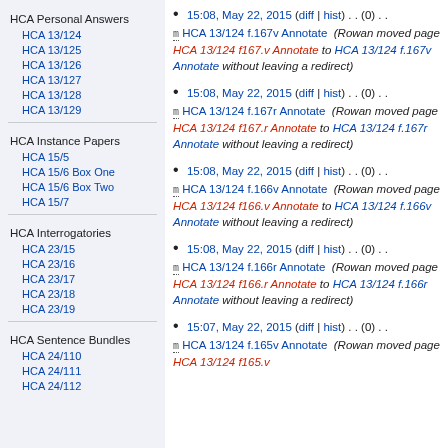HCA Personal Answers
HCA 13/124
HCA 13/125
HCA 13/126
HCA 13/127
HCA 13/128
HCA 13/129
HCA Instance Papers
HCA 15/5
HCA 15/6 Box One
HCA 15/6 Box Two
HCA 15/7
HCA Interrogatories
HCA 23/15
HCA 23/16
HCA 23/17
HCA 23/18
HCA 23/19
HCA Sentence Bundles
HCA 24/110
HCA 24/111
HCA 24/112
15:08, May 22, 2015 (diff | hist) . . (0) . . m HCA 13/124 f.167v Annotate (Rowan moved page HCA 13/124 f167.v Annotate to HCA 13/124 f.167v Annotate without leaving a redirect)
15:08, May 22, 2015 (diff | hist) . . (0) . . m HCA 13/124 f.167r Annotate (Rowan moved page HCA 13/124 f167.r Annotate to HCA 13/124 f.167r Annotate without leaving a redirect)
15:08, May 22, 2015 (diff | hist) . . (0) . . m HCA 13/124 f.166v Annotate (Rowan moved page HCA 13/124 f166.v Annotate to HCA 13/124 f.166v Annotate without leaving a redirect)
15:08, May 22, 2015 (diff | hist) . . (0) . . m HCA 13/124 f.166r Annotate (Rowan moved page HCA 13/124 f166.r Annotate to HCA 13/124 f.166r Annotate without leaving a redirect)
15:07, May 22, 2015 (diff | hist) . . (0) . . m HCA 13/124 f.165v Annotate (Rowan moved page HCA 13/124 f165.v